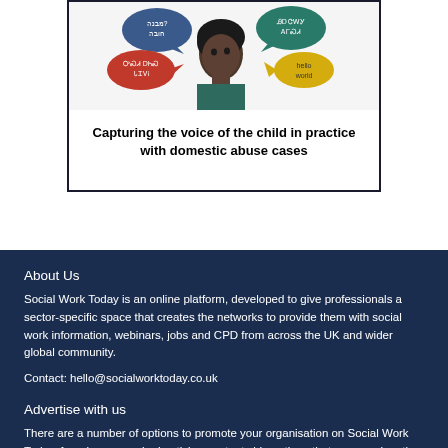[Figure (illustration): Illustration of a child with multiple speech bubbles in different colors (blue, teal, red, yellow) containing text in various scripts/languages]
Capturing the voice of the child in practice with domestic abuse cases
About Us
Social Work Today is an online platform, developed to give professionals a sector-specific space that creates the networks to provide them with social work information, webinars, jobs and CPD from across the UK and wider global community.
Contact: hello@socialworktoday.co.uk
Advertise with us
There are a number of options to promote your organisation on Social Work Today, from banner and advertising content side options that are prominently...